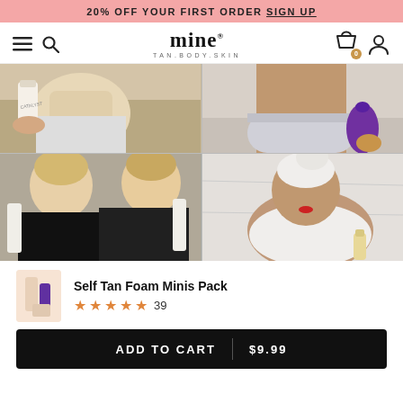20% OFF YOUR FIRST ORDER SIGN UP
[Figure (logo): Mine Tan Body Skin brand logo with hamburger menu, search icon, cart icon, and user icon]
[Figure (photo): Grid of 4 product/lifestyle photos showing women with self tan products in bathroom settings]
Self Tan Foam Minis Pack
★★★★★ 39
ADD TO CART | $9.99